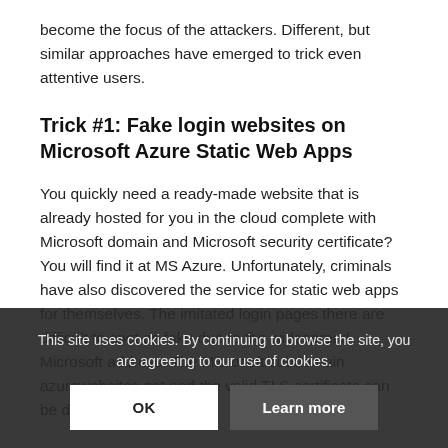become the focus of the attackers. Different, but similar approaches have emerged to trick even attentive users.
Trick #1: Fake login websites on Microsoft Azure Static Web Apps
You quickly need a ready-made website that is already hosted for you in the cloud complete with Microsoft domain and Microsoft security certificate? You will find it at MS Azure. Unfortunately, criminals have also discovered the service for static web apps for themselves. The imitated login pages there are difficult to spot as fake due to the widespread Microsoft address. The Microsoft subdomain azurewebsites.net and the valid TLS certificate can be deceptive. [1]
This site uses cookies. By continuing to browse the site, you are agreeing to our use of cookies.